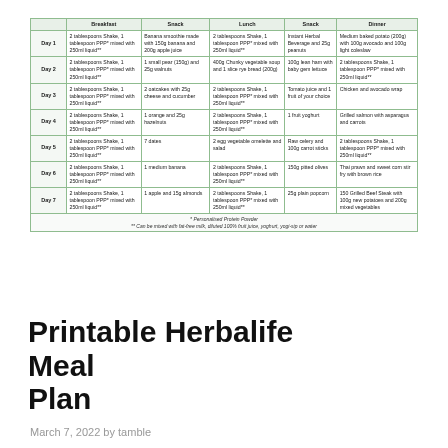|  | Breakfast | Snack | Lunch | Snack | Dinner |
| --- | --- | --- | --- | --- | --- |
| Day 1 | 2 tablespoons Shake, 1 tablespoon PPP* mixed with 250ml liquid** | Banana smoothie made with 150g banana and 200g apple juice | 2 tablespoons Shake, 1 tablespoon PPP* mixed with 250ml liquid** | Instant Herbal Beverage and 25g peanuts | Medium baked potato (200g) with 100g avocado and 100g light coleslaw |
| Day 2 | 2 tablespoons Shake, 1 tablespoon PPP* mixed with 250ml liquid** | 1 small pear (150g) and 25g walnuts | 400g Chunky vegetable soup and 1 slice rye bread (200g) | 100g lean ham with baby gem lettuce | 2 tablespoons Shake, 1 tablespoon PPP* mixed with 250ml liquid** |
| Day 3 | 2 tablespoons Shake, 1 tablespoon PPP* mixed with 250ml liquid** | 2 oatcakes with 25g cheese and cucumber | 2 tablespoons Shake, 1 tablespoon PPP* mixed with 250ml liquid** | Tomato juice and 1 fruit of your choice | Chicken and avocado wrap |
| Day 4 | 2 tablespoons Shake, 1 tablespoon PPP* mixed with 250ml liquid** | 1 orange and 25g hazelnuts | 2 tablespoons Shake, 1 tablespoon PPP* mixed with 250ml liquid** | 1 fruit yoghurt | Grilled salmon with asparagus and carrots |
| Day 5 | 2 tablespoons Shake, 1 tablespoon PPP* mixed with 250ml liquid** | 7 dates | 2 egg vegetable omelette and salad | Raw celery and 100g carrot sticks | 2 tablespoons Shake, 1 tablespoon PPP* mixed with 250ml liquid** |
| Day 6 | 2 tablespoons Shake, 1 tablespoon PPP* mixed with 250ml liquid** | 1 medium banana | 2 tablespoons Shake, 1 tablespoon PPP* mixed with 250ml liquid** | 150g pitted olives | Thai prawn and sweet corn stir fry with brown rice |
| Day 7 | 2 tablespoons Shake, 1 tablespoon PPP* mixed with 250ml liquid** | 1 apple and 15g almonds | 2 tablespoons Shake, 1 tablespoon PPP* mixed with 250ml liquid** | 25g plain popcorn | 150 Grilled Beef Steak with 100g new potatoes and 200g mixed vegetables |
* Personalised Protein Powder
** Can be mixed with fat-free milk, diluted 100% fruit juice, yoghurt, yogi-sip or water
Printable Herbalife Meal Plan
March 7, 2022 by tamble